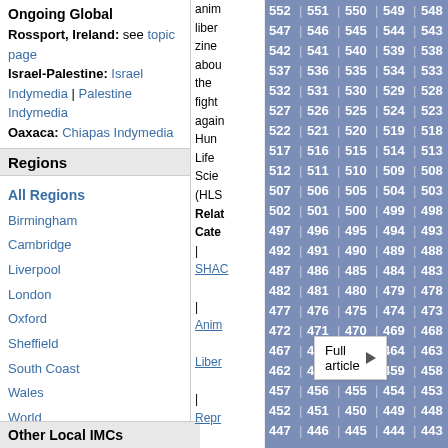Ongoing Global
Rossport, Ireland: see topic page
Israel-Palestine: Israel Indymedia | Palestine Indymedia
Oaxaca: Chiapas Indymedia
Regions
All Regions
Birmingham
Cambridge
Liverpool
London
Oxford
Sheffield
South Coast
Wales
World
Full article
Other Local IMCs
anim
liber
zine
abou
the
fight
again
Hun
Life
Scie
(HLS
Relat
Cate
|
SHAC
|
Anim
Liber
|
Repr
|
Worl
UG
-
Th
US
P
[Figure (other): Pagination number grid showing numbers from 418 to 552 arranged in rows of 5 separated by pipe characters, displayed in white bold text on blue-gray background]